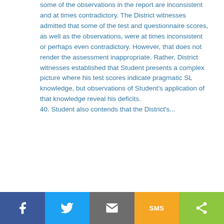some of the observations in the report are inconsistent and at times contradictory. The District witnesses admitted that some of the test and questionnaire scores, as well as the observations, were at times inconsistent or perhaps even contradictory. However, that does not render the assessment inappropriate. Rather, District witnesses established that Student presents a complex picture where his test scores indicate pragmatic SL knowledge, but observations of Student's application of that knowledge reveal his deficits.

40. Student also contends that the District's...
Social sharing bar: Facebook, Twitter, Email, SMS, Share